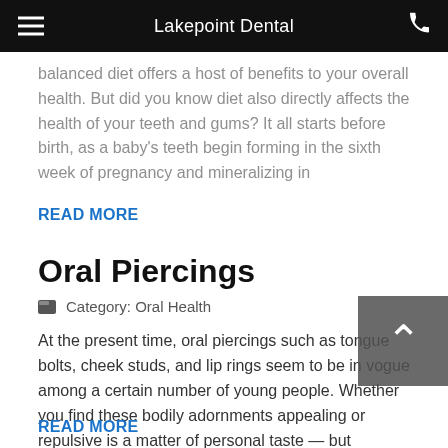Lakepoint Dental
balanced diet offers a host of benefits to your overall health. But did you know diet also directly affects the health of your teeth and gums? It all starts before birth, as a baby's teeth begin forming in the sixth week of pregnancy and mineralizing in
READ MORE
Oral Piercings
Category: Oral Health
At the present time, oral piercings such as tongue bolts, cheek studs, and lip rings seem to be in vogue among a certain number of young people. Whether you find these bodily adornments appealing or repulsive is a matter of personal taste — but whichever side of the fashion divide you're on, there
READ MORE